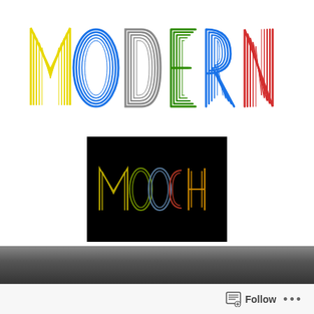[Figure (logo): MODERN logo in colorful outlined retro font - yellow M, blue O, gray D, green E, blue R, red N]
[Figure (logo): MOOCH logo on black background with colorful outlined retro letters]
Okehampton to Plymouth
Posted on June 20, 2020 by modernmoocher
[Figure (photo): Dark photo strip showing what appears to be a railway station or platform]
Follow ...